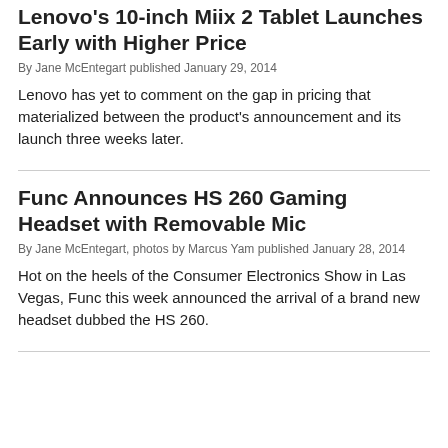Lenovo's 10-inch Miix 2 Tablet Launches Early with Higher Price
By Jane McEntegart published January 29, 2014
Lenovo has yet to comment on the gap in pricing that materialized between the product's announcement and its launch three weeks later.
Func Announces HS 260 Gaming Headset with Removable Mic
By Jane McEntegart, photos by Marcus Yam published January 28, 2014
Hot on the heels of the Consumer Electronics Show in Las Vegas, Func this week announced the arrival of a brand new headset dubbed the HS 260.